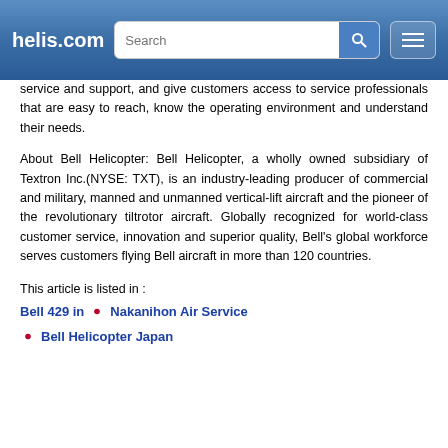helis.com
service and support, and give customers access to service professionals that are easy to reach, know the operating environment and understand their needs.
About Bell Helicopter: Bell Helicopter, a wholly owned subsidiary of Textron Inc.(NYSE: TXT), is an industry-leading producer of commercial and military, manned and unmanned vertical-lift aircraft and the pioneer of the revolutionary tiltrotor aircraft. Globally recognized for world-class customer service, innovation and superior quality, Bell's global workforce serves customers flying Bell aircraft in more than 120 countries.
This article is listed in :
Bell 429 in 🇯🇵 Nakanihon Air Service
🇯🇵 Bell Helicopter Japan